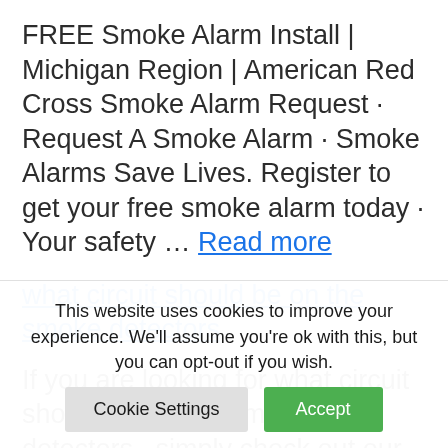FREE Smoke Alarm Install | Michigan Region | American Red Cross Smoke Alarm Request · Request A Smoke Alarm · Smoke Alarms Save Lives. Register to get your free smoke alarm today · Your safety ... Read more
what circuit should be on the smoke detectors
If you are looking for what circuit should be on the smoke detectors , simply check out our links below:
This website uses cookies to improve your experience. We'll assume you're ok with this, but you can opt-out if you wish.